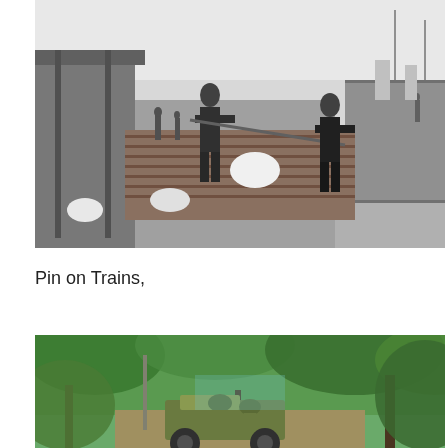[Figure (photo): Black and white historical photograph of workers on a train platform or railcar, with men wielding long poles or tools. Railroad cars visible on the right side and a covered loading dock on the left. Several workers visible in the background along the length of the train.]
Pin on Trains,
[Figure (photo): Color photograph of military personnel in a jeep driving through a lush green jungle or forested area with trees overhead. Two soldiers visible wearing helmets, surrounded by dense green foliage.]